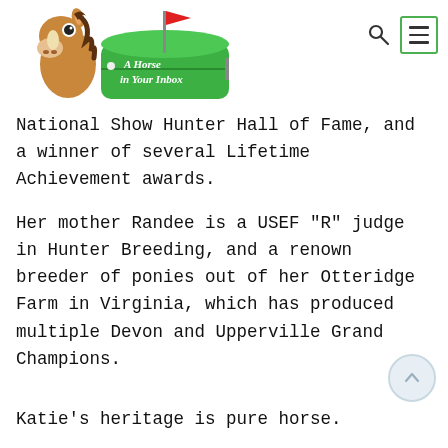[Figure (logo): A Horse in Your Inbox logo: cartoon horse head next to a green mailbox with a red flag and white text 'A Horse in Your Inbox']
National Show Hunter Hall of Fame, and a winner of several Lifetime Achievement awards.
Her mother Randee is a USEF "R" judge in Hunter Breeding, and a renown breeder of ponies out of her Otteridge Farm in Virginia, which has produced multiple Devon and Upperville Grand Champions.
Katie's heritage is pure horse.